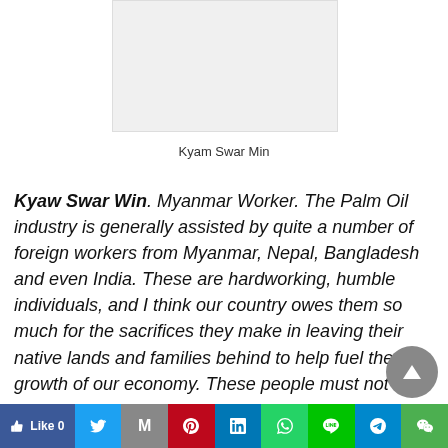[Figure (photo): Photo placeholder of Kyaw Swar Win]
Kyam Swar Min
Kyaw Swar Win. Myanmar Worker. The Palm Oil industry is generally assisted by quite a number of foreign workers from Myanmar, Nepal, Bangladesh and even India. These are hardworking, humble individuals, and I think our country owes them so much for the sacrifices they make in leaving their native lands and families behind to help fuel the growth of our economy. These people must not be
Like 0 | Twitter | Gmail | Pinterest | LinkedIn | WhatsApp | Line | Telegram | WeChat